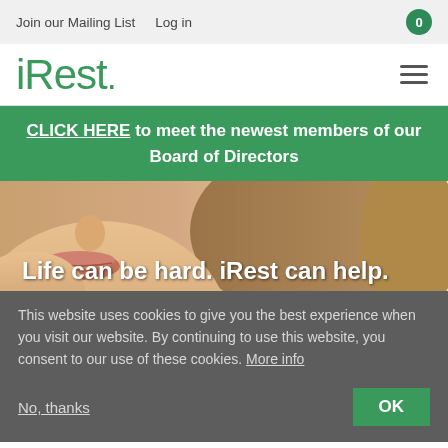Join our Mailing List   Log in   0
iRest.
CLICK HERE to meet the newest members of our Board of Directors
[Figure (photo): Close-up photo of a person's face (lower half), with blonde hair, neutral background. Overlaid white text reads: Life can be hard. iRest can help.]
This website uses cookies to give you the best experience when you visit our website. By continuing to use this website, you consent to our use of these cookies. More info
No, thanks   OK